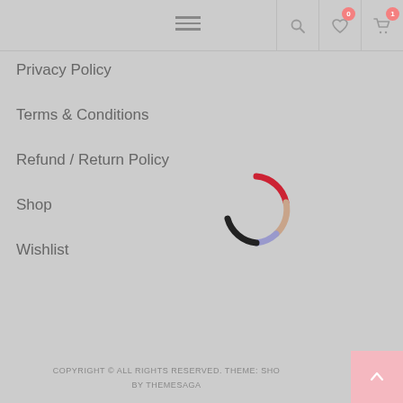Navigation header with hamburger menu, search, wishlist (0), cart (1)
Privacy Policy
Terms & Conditions
Refund / Return Policy
Shop
Wishlist
[Figure (other): Circular loading spinner with multicolored arc segments: red, tan/beige, lavender, dark charcoal]
COPYRIGHT © ALL RIGHTS RESERVED. THEME: SHOPKEEPER BY THEMESAGA